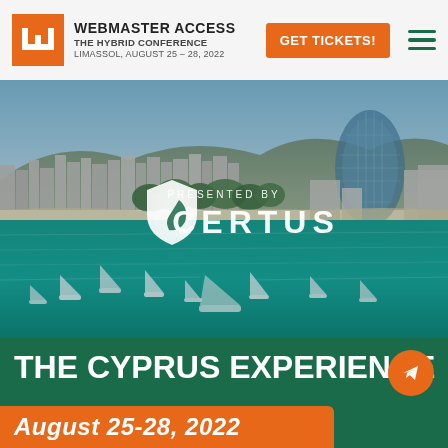WEBMASTER ACCESS THE HYBRID CONFERENCE LIMASSOL, AUGUST 25 – 28, 2022
[Figure (photo): Aerial/waterfront photo of Limassol, Cyprus harbor with sailboats, turquoise water, city buildings and an oval modern skyscraper. Overlay shows CERTUS sponsor logo and 'PRESENTED BY CERTUS' text.]
THE CYPRUS EXPERIENCE
August 25-28, 2022